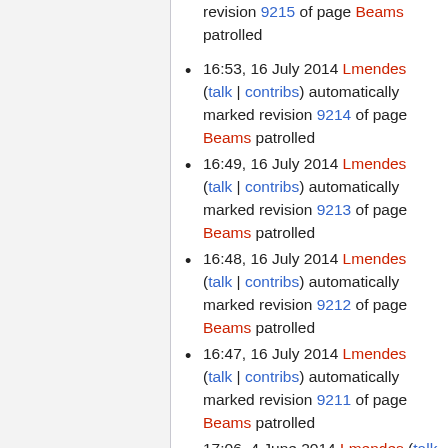revision 9215 of page Beams patrolled
16:53, 16 July 2014 Lmendes (talk | contribs) automatically marked revision 9214 of page Beams patrolled
16:49, 16 July 2014 Lmendes (talk | contribs) automatically marked revision 9213 of page Beams patrolled
16:48, 16 July 2014 Lmendes (talk | contribs) automatically marked revision 9212 of page Beams patrolled
16:47, 16 July 2014 Lmendes (talk | contribs) automatically marked revision 9211 of page Beams patrolled
17:06, 4 June 2014 Lmendes (talk | contribs) automatically marked